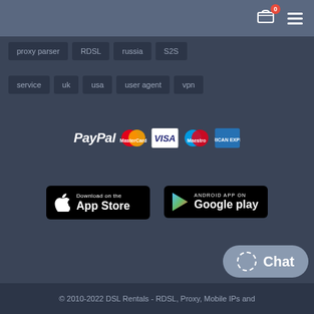Navigation bar with cart (0) and hamburger menu
proxy parser
RDSL
russia
S2S
service
uk
usa
user agent
vpn
[Figure (logo): Payment method logos: PayPal, MasterCard, Visa, Maestro, American Express]
[Figure (logo): Download on the App Store button]
[Figure (logo): Android App on Google Play button]
© 2010-2022 DSL Rentals - RDSL, Proxy, Mobile IPs and